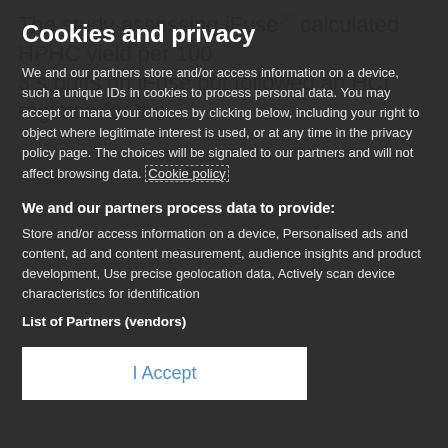The study assessing iFuse30 calculated HPHC yield per 100 3 s puffs on iFuse but followed an HCI regimen for the
Cookies and privacy
We and our partners store and/or access information on a device, such as unique IDs in cookies to process personal data. You may accept or manage your choices by clicking below, including your right to object where legitimate interest is used, or at any time in the privacy policy page. These choices will be signaled to our partners and will not affect browsing data. Cookie policy
We and our partners process data to provide:
Store and/or access information on a device, Personalised ads and content, ad and content measurement, audience insights and product development, Use precise geolocation data, Actively scan device characteristics for identification
List of Partners (vendors)
I Accept